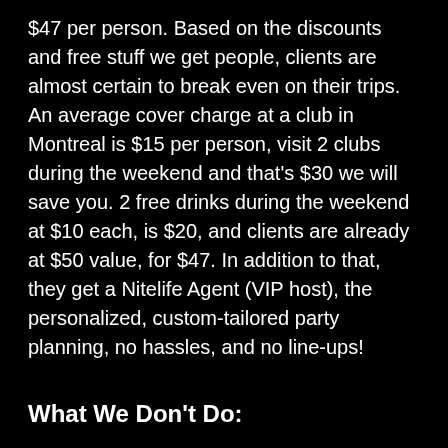$47 per person. Based on the discounts and free stuff we get people, clients are almost certain to break even on their trips. An average cover charge at a club in Montreal is $15 per person, visit 2 clubs during the weekend and that's $30 we will save you. 2 free drinks during the weekend at $10 each, is $20, and clients are already at $50 value, for $47. In addition to that, they get a Nitelife Agent (VIP host), the personalized, custom-tailored party planning, no hassles, and no line-ups!
What We Don't Do:
Sell hotels individually (but do the math and you will see that booking hotels with us gets you the VIP/party planning services almost free. Hotel taxes in Montreal are 17%, and are included in all our rates. Other sites don't include the taxes)